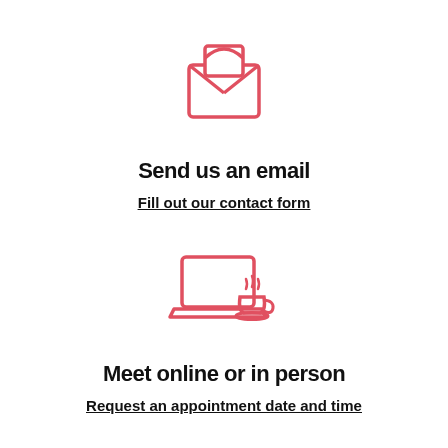[Figure (illustration): Pink/red outline icon of an open envelope with a letter sticking out and an X pattern on the envelope flap]
Send us an email
Fill out our contact form
[Figure (illustration): Pink/red outline icon of a laptop computer with a steaming coffee cup beside it]
Meet online or in person
Request an appointment date and time